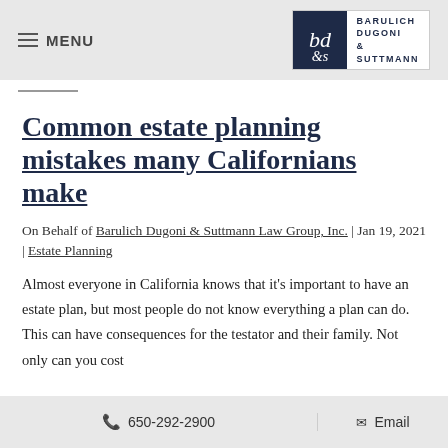MENU | Barulich Dugoni & Suttmann
Common estate planning mistakes many Californians make
On Behalf of Barulich Dugoni & Suttmann Law Group, Inc. | Jan 19, 2021 | Estate Planning
Almost everyone in California knows that it's important to have an estate plan, but most people do not know everything a plan can do. This can have consequences for the testator and their family. Not only can you cost
650-292-2900  Email